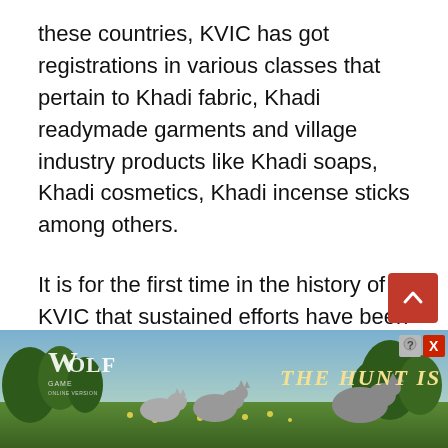these countries, KVIC has got registrations in various classes that pertain to Khadi fabric, Khadi readymade garments and village industry products like Khadi soaps, Khadi cosmetics, Khadi incense sticks among others.
It is for the first time in the history of KVIC that sustained efforts have been made in the last 5 years to protect the brand "Khadi" which was given to us by none other than Mahatma Gandhi.
Earlier this year, KVIC launched Khadi India's
[Figure (screenshot): Advertisement banner for 'Wolf' game showing wolves in a forest landscape with text 'THE HUNT IS ON!' and close/help icons in the top right corner.]